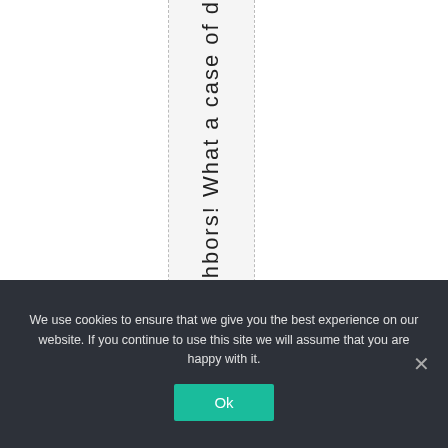hbors! What a case of d
We use cookies to ensure that we give you the best experience on our website. If you continue to use this site we will assume that you are happy with it.